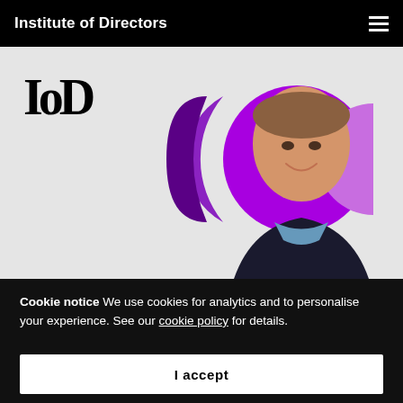Institute of Directors
[Figure (photo): IoD logo (large serif IOD lettermark) on light grey background with a smiling young man in a suit overlaid on purple circle graphic decorations]
Cookie notice We use cookies for analytics and to personalise your experience. See our cookie policy for details.
I accept